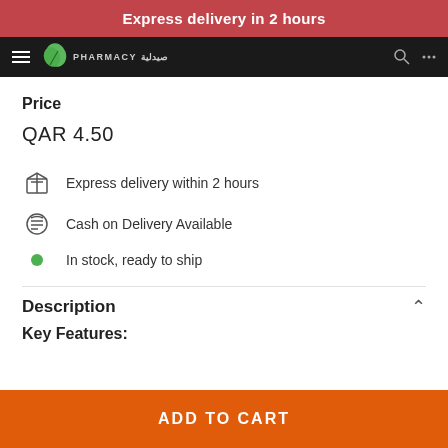Express delivery in 2 hours
[Figure (screenshot): Pharmacy website navigation bar with logo (green leaf icon, pharmacy name in English and Arabic) on dark background]
Price
QAR 4.50
Express delivery within 2 hours
Cash on Delivery Available
In stock, ready to ship
Description
Key Features:
ADD TO CART